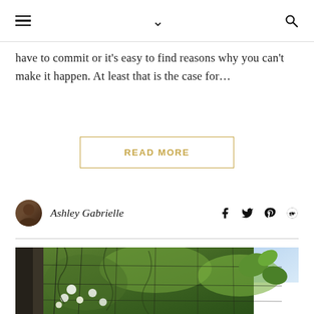≡  ∨  🔍
have to commit or it's easy to find reasons why you can't make it happen. At least that is the case for...
READ MORE
Ashley Gabrielle
[Figure (photo): Garden photo showing climbing vines and white flowers on a trellis or fence, with lush green foliage and natural outdoor lighting]